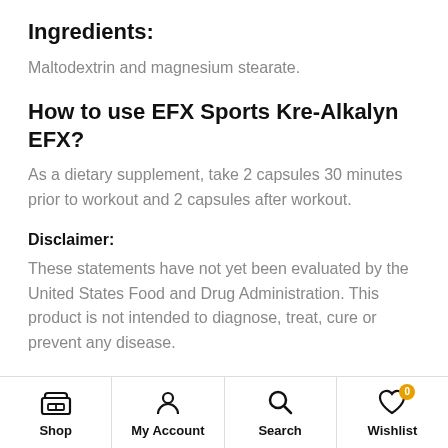Ingredients:
Maltodextrin and magnesium stearate.
How to use EFX Sports Kre-Alkalyn EFX?
As a dietary supplement, take 2 capsules 30 minutes prior to workout and 2 capsules after workout.
Disclaimer:
These statements have not yet been evaluated by the United States Food and Drug Administration. This product is not intended to diagnose, treat, cure or prevent any disease.
Shop  My Account  Search  Wishlist